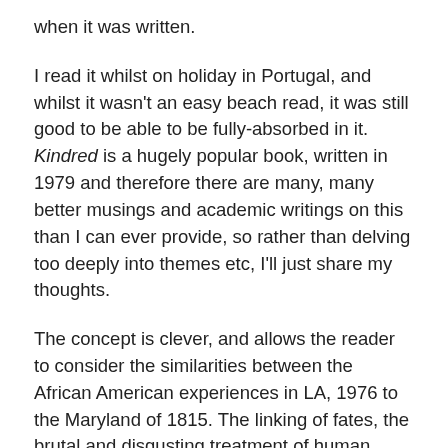when it was written.
I read it whilst on holiday in Portugal, and whilst it wasn't an easy beach read, it was still good to be able to be fully-absorbed in it. Kindred is a hugely popular book, written in 1979 and therefore there are many, many better musings and academic writings on this than I can ever provide, so rather than delving too deeply into themes etc, I'll just share my thoughts.
The concept is clever, and allows the reader to consider the similarities between the African American experiences in LA, 1976 to the Maryland of 1815. The linking of fates, the brutal and disgusting treatment of human beings as property, the realities of life for mixed race couples and the exploration of ancestry were brilliantly executed and fascinating.
In recent years, I have discovered that I have an